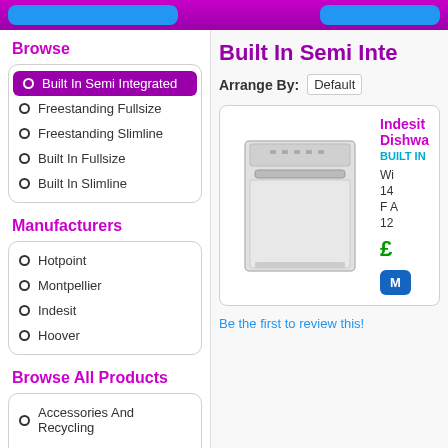Browse
Built In Semi Integrated
Freestanding Fullsize
Freestanding Slimline
Built In Fullsize
Built In Slimline
Manufacturers
Hotpoint
Montpellier
Indesit
Hoover
Browse All Products
Accessories And Recycling
Freestanding Refrigeration
Built In Refrigeration
Built In Semi Inte…
Arrange By: Default
Indesit 14PL Semi Integ… Dishwasher - DBE2B19…
BUILT IN SEMI INTEGRATED …
[Figure (photo): Dishwasher product image - white built-in semi integrated dishwasher]
Wi…
14…
F A…
12…
£…
Be the first to review this!